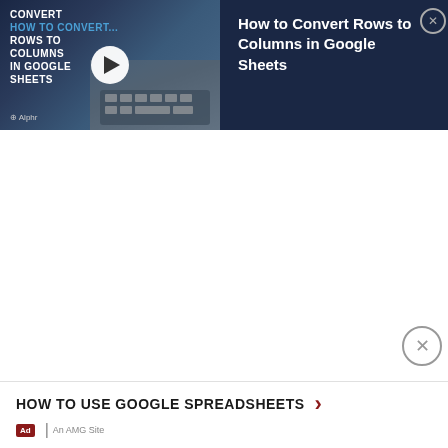[Figure (screenshot): Video banner showing 'How to Convert Rows to Columns in Google Sheets' with a thumbnail on the left (showing text and a keyboard/hands image with a play button) and title text on the right on a dark navy background. An X close button is in the top right.]
[Figure (screenshot): White empty space in the middle of the page, with an X close button near the bottom right.]
HOW TO USE GOOGLE SPREADSHEETS
Ad | An AMG Site